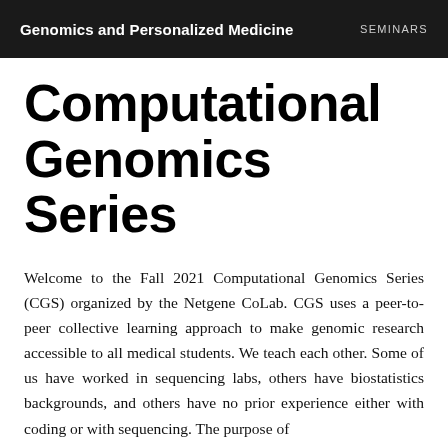Genomics and Personalized Medicine   SEMINARS
Computational Genomics Series
Welcome to the Fall 2021 Computational Genomics Series (CGS) organized by the Netgene CoLab. CGS uses a peer-to-peer collective learning approach to make genomic research accessible to all medical students. We teach each other. Some of us have worked in sequencing labs, others have biostatistics backgrounds, and others have no prior experience either with coding or with sequencing. The purpose of